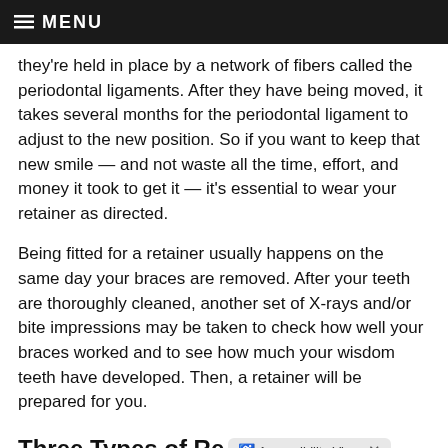MENU
they're held in place by a network of fibers called the periodontal ligaments. After they have being moved, it takes several months for the periodontal ligament to adjust to the new position. So if you want to keep that new smile — and not waste all the time, effort, and money it took to get it — it's essential to wear your retainer as directed.
Being fitted for a retainer usually happens on the same day your braces are removed. After your teeth are thoroughly cleaned, another set of X-rays and/or bite impressions may be taken to check how well your braces worked and to see how much your wisdom teeth have developed. Then, a retainer will be prepared for you.
Three Types of Re